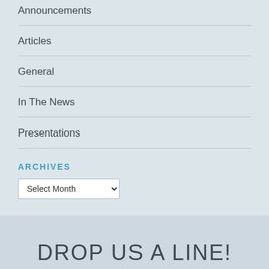Announcements
Articles
General
In The News
Presentations
ARCHIVES
Select Month
DROP US A LINE!